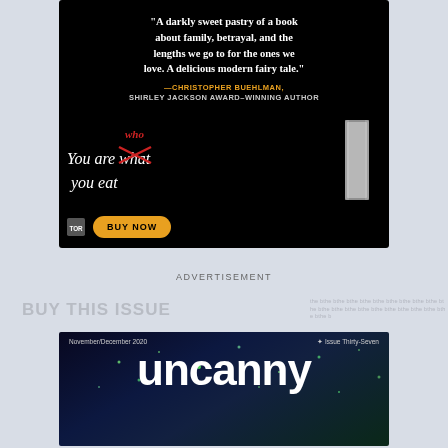[Figure (illustration): Book advertisement on black background. Quote: 'A darkly sweet pastry of a book about family, betrayal, and the lengths we go to for the ones we love. A delicious modern fairy tale.' attributed to Christopher Buehlman, Shirley Jackson Award-winning author. Book tagline 'You are what you eat' with 'what' crossed out and 'who' written above in red. Book spine illustration. TOR logo and yellow BUY NOW button.]
ADVERTISEMENT
BUY THIS ISSUE
[Figure (photo): Cover of Uncanny Magazine, November/December 2020, Issue Thirty-Seven. Dark blue/teal space background with glowing particles. Large white bold 'uncanny' text.]